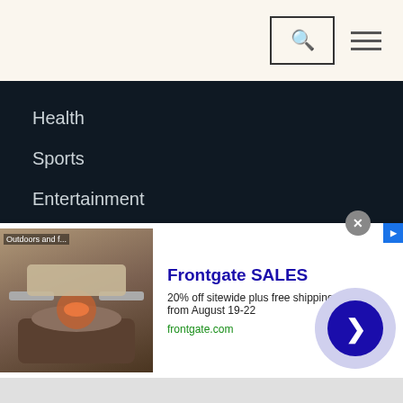Search and navigation header
Health
Sports
Entertainment
Others
— — — —
Online Rates Ad Tariff
[Figure (screenshot): Advertisement banner for Frontgate SALES showing outdoor furniture with fire pit, 20% off sitewide plus free shipping from August 19-22, frontgate.com]